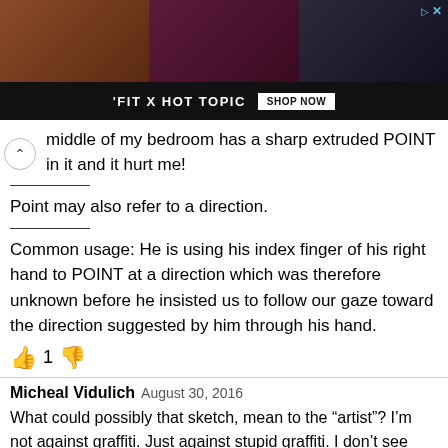[Figure (photo): Advertisement banner for 'FIT X HOT TOPIC' with three images of people in band/alternative clothing. A 'SHOP NOW' button is shown. There is a close/skip icon in the top right.]
middle of my bedroom has a sharp extruded POINT in it and it hurt me!
Point may also refer to a direction.
Common usage: He is using his index finger of his right hand to POINT at a direction which was therefore unknown before he insisted us to follow our gaze toward the direction suggested by him through his hand.
👍 1 👎
Micheal Vidulich August 30, 2016
What could possibly that sketch, mean to the "artist"? I'm not against graffiti. Just against stupid graffiti. I don't see why